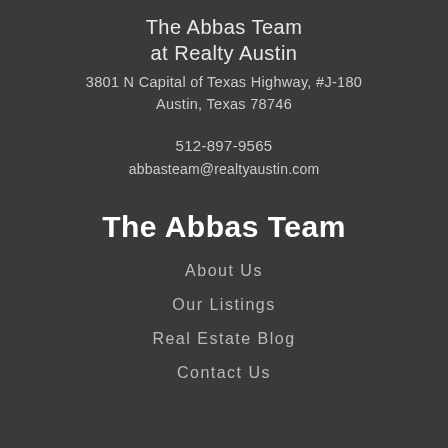The Abbas Team at Realty Austin
3801 N Capital of Texas Highway, #J-180
Austin, Texas 78746
512-897-9565
abbasteam@realtyaustin.com
The Abbas Team
About Us
Our Listings
Real Estate Blog
Contact Us